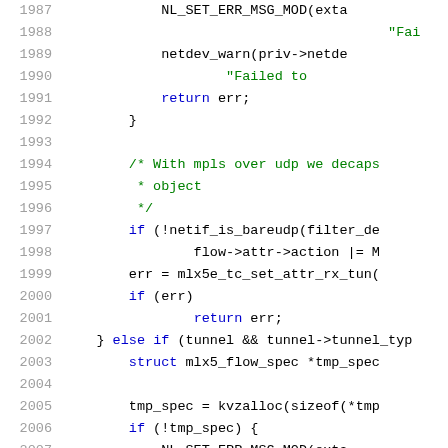[Figure (screenshot): Source code listing in C, lines 1987–2008, showing kernel network driver code with syntax highlighting. Line numbers in gray on left, code in black/blue/green/red on right.]